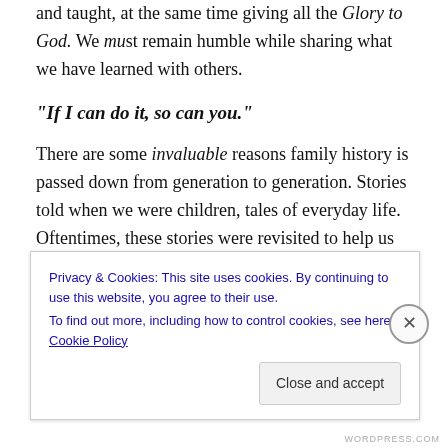and taught, at the same time giving all the Glory to God. We must remain humble while sharing what we have learned with others.
“If I can do it, so can you.”
There are some invaluable reasons family history is passed down from generation to generation. Stories told when we were children, tales of everyday life. Oftentimes, these stories were revisited to help us prepare for life, teaching us how to handle the good, the bad, and crisis, etc. The life lessons needed for us to grow into adulthood
Privacy & Cookies: This site uses cookies. By continuing to use this website, you agree to their use.
To find out more, including how to control cookies, see here: Cookie Policy